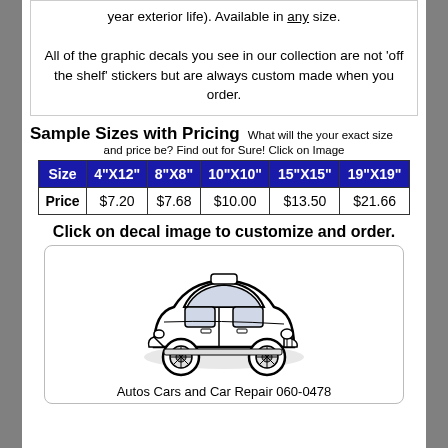year exterior life). Available in any size.
All of the graphic decals you see in our collection are not 'off the shelf' stickers but are always custom made when you order.
Sample Sizes with Pricing
What will the your exact size and price be? Find out for Sure! Click on Image
| Size | 4"X12" | 8"X8" | 10"X10" | 15"X15" | 19"X19" |
| --- | --- | --- | --- | --- | --- |
| Price | $7.20 | $7.68 | $10.00 | $13.50 | $21.66 |
Click on decal image to customize and order.
[Figure (illustration): Line drawing of a vintage taxi/classic car, black and white illustration]
Autos Cars and Car Repair 060-0478